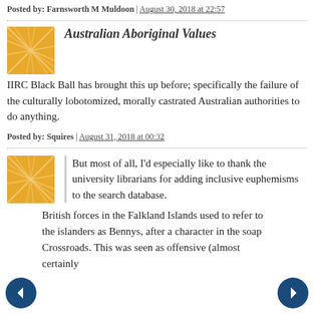Posted by: Farnsworth M Muldoon | August 30, 2018 at 22:57
Australian Aboriginal Values
IIRC Black Ball has brought this up before; specifically the failure of the culturally lobotomized, morally castrated Australian authorities to do anything.
Posted by: Squires | August 31, 2018 at 00:32
But most of all, I'd especially like to thank the university librarians for adding inclusive euphemisms to the search database.
British forces in the Falkland Islands used to refer to the islanders as Bennys, after a character in the soap Crossroads. This was seen as offensive (almost certainly